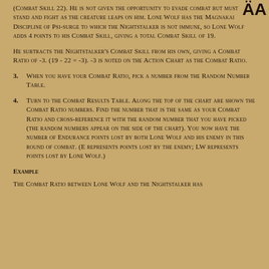(COMBAT SKILL 22). He is not given the opportunity to evade combat but must stand and fight as the creature leaps on him. Lone Wolf has the Magnakai Discipline of Psi-surge to which the Nightstalker is not immune, so Lone Wolf adds 4 points to his COMBAT SKILL, giving a total COMBAT SKILL of 19.
He subtracts the Nightstalker's COMBAT SKILL from his own, giving a Combat Ratio of -3. (19 - 22 = -3). -3 is noted on the Action Chart as the Combat Ratio.
3. When you have your Combat Ratio, pick a number from the Random Number Table.
4. Turn to the Combat Results Table. Along the top of the chart are shown the Combat Ratio numbers. Find the number that is the same as your Combat Ratio and cross-reference it with the random number that you have picked (the random numbers appear on the side of the chart). You now have the number of ENDURANCE points lost by both Lone Wolf and his enemy in this round of combat. (E represents points lost by the enemy; LW represents points lost by Lone Wolf.)
Example
The Combat Ratio between Lone Wolf and the Nightstalker has